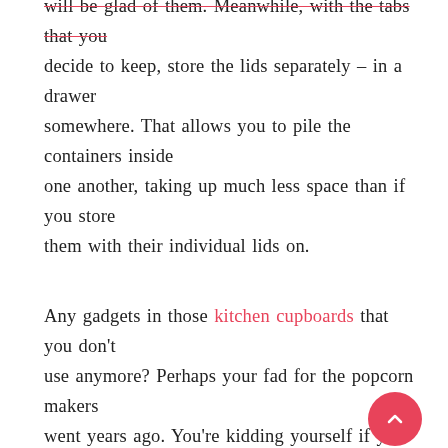will be glad of them. Meanwhile, with the tabs that you decide to keep, store the lids separately – in a drawer somewhere. That allows you to pile the containers inside one another, taking up much less space than if you store them with their individual lids on.
Any gadgets in those kitchen cupboards that you don't use anymore? Perhaps your fad for the popcorn makers went years ago. You're kidding yourself if you think you're ever going to use that bread maker again. And while we're on the subject of obsolete objects, is that air fryer you got in lockdown taking up a ridiculous amount of space for the three times you've used it? If so, get rid!
Like Tupperware boxes, baking trays are another item that we have all tend to have too many off. Muffin tins in particular, often seem to multiply. If you've more than